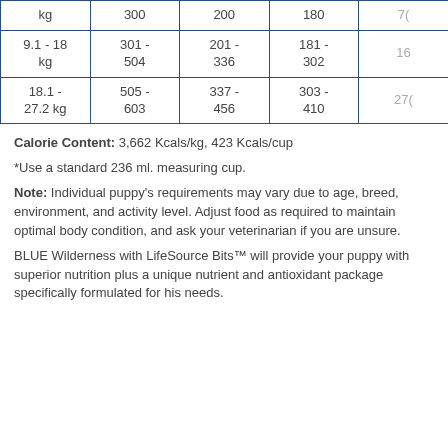| kg | 300 | 200 | 180 | 7(partial) |
| 9.1 - 18 kg | 301 - 504 | 201 - 336 | 181 - 302 | 16(partial) |
| 18.1 - 27.2 kg | 505 - 603 | 337 - 456 | 303 - 410 | 27(partial) |
Calorie Content: 3,662 Kcals/kg, 423 Kcals/cup
*Use a standard 236 ml. measuring cup.
Note: Individual puppy's requirements may vary due to age, breed, environment, and activity level. Adjust food as required to maintain optimal body condition, and ask your veterinarian if you are unsure.
BLUE Wilderness with LifeSource Bits™ will provide your puppy with superior nutrition plus a unique nutrient and antioxidant package specifically formulated for his needs.